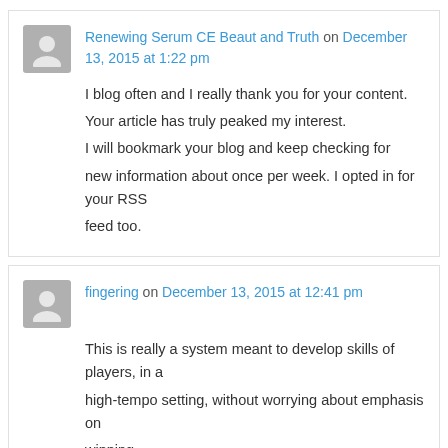Renewing Serum CE Beaut and Truth on December 13, 2015 at 1:22 pm
I blog often and I really thank you for your content. Your article has truly peaked my interest. I will bookmark your blog and keep checking for new information about once per week. I opted in for your RSS feed too.
fingering on December 13, 2015 at 12:41 pm
This is really a system meant to develop skills of players, in a high-tempo setting, without worrying about emphasis on winning. My dick was swelling with the thought i could hear my girlfriends moans grow louder. Fingering Either partly pre-cook vegetables or trim your chicken thickly. Even should you only get outside with an hour or two per day, the other light can help put extra zip within your mood.